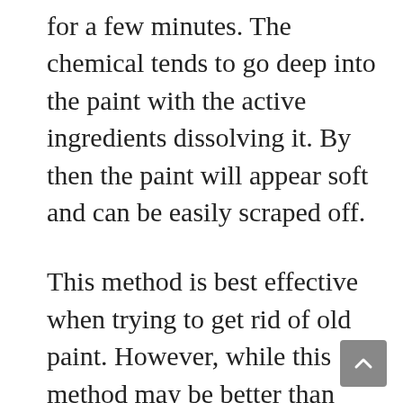for a few minutes. The chemical tends to go deep into the paint with the active ingredients dissolving it. By then the paint will appear soft and can be easily scraped off.
This method is best effective when trying to get rid of old paint. However, while this method may be better than sanding, you might still need to apply several layers for the best result. Also, when using paint removers, always remember to practice safety.